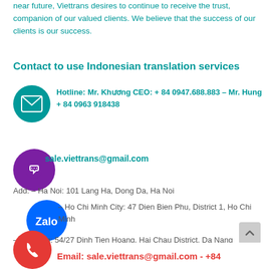near future, Viettrans desires to continue to receive the trust, companion of our valued clients. We believe that the success of our clients is our success.
Contact to use Indonesian translation services
Hotline: Mr. Khương CEO: + 84 0947.688.883 – Mr. Hung + 84 0963 918438
sale.viettrans@gmail.com
Add:  – Ha Noi: 101 Lang Ha, Dong Da, Ha Noi
– Ho Chi Minh City: 47 Dien Bien Phu, District 1, Ho Chi Minh
– Da Nang: 54/27 Dinh Tien Hoang, Hai Chau District, Da Nang
Email: sale.viettrans@gmail.com - +84